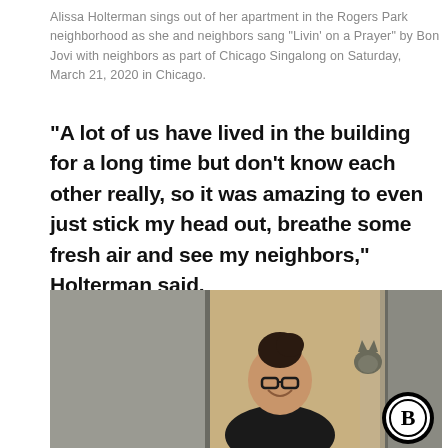Alissa Holterman sings out of her apartment in the Rogers Park neighborhood as she and neighbors sang “Livin’ on a Prayer” by Bon Jovi with neighbors as part of Chicago Singalong on Saturday, March 21, 2020 in Chicago.
“A lot of us have lived in the building for a long time but don’t know each other really, so it was amazing to even just stick my head out, breathe some fresh air and see my neighbors,” Holterman said.
[Figure (photo): A woman with glasses and dark hair in a bun, wearing a black top, smiling while leaning out of an apartment window or door. A cat is visible peeking out behind a curtain. A Bloomberg logo badge (circular black border with white interior, bold B) appears in the bottom right corner.]